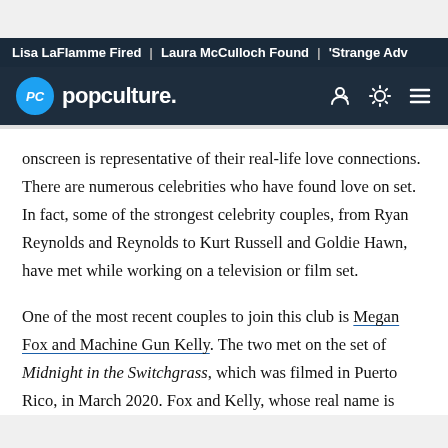Lisa LaFlamme Fired | Laura McCulloch Found | 'Strange Adv
popculture.
onscreen is representative of their real-life love connections. There are numerous celebrities who have found love on set. In fact, some of the strongest celebrity couples, from Ryan Reynolds and Reynolds to Kurt Russell and Goldie Hawn, have met while working on a television or film set.
One of the most recent couples to join this club is Megan Fox and Machine Gun Kelly. The two met on the set of Midnight in the Switchgrass, which was filmed in Puerto Rico, in March 2020. Fox and Kelly, whose real name is